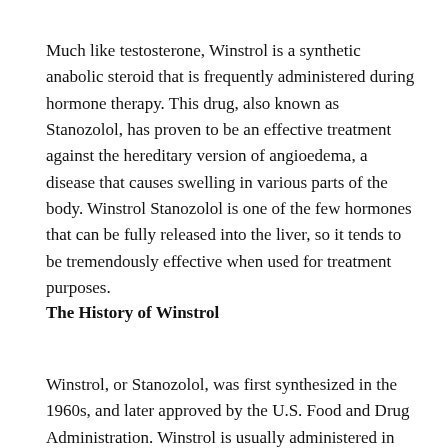Much like testosterone, Winstrol is a synthetic anabolic steroid that is frequently administered during hormone therapy. This drug, also known as Stanozolol, has proven to be an effective treatment against the hereditary version of angioedema, a disease that causes swelling in various parts of the body. Winstrol Stanozolol is one of the few hormones that can be fully released into the liver, so it tends to be tremendously effective when used for treatment purposes.
The History of Winstrol
Winstrol, or Stanozolol, was first synthesized in the 1960s, and later approved by the U.S. Food and Drug Administration. Winstrol is usually administered in oral form for a specified